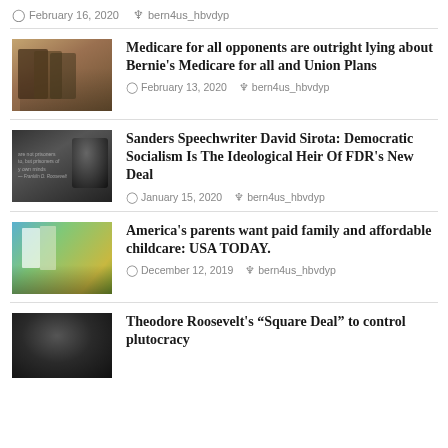February 16, 2020  bern4us_hbvdyp
Medicare for all opponents are outright lying about Bernie's Medicare for all and Union Plans
February 13, 2020  bern4us_hbvdyp
Sanders Speechwriter David Sirota: Democratic Socialism Is The Ideological Heir Of FDR's New Deal
January 15, 2020  bern4us_hbvdyp
America's parents want paid family and affordable childcare: USA TODAY.
December 12, 2019  bern4us_hbvdyp
Theodore Roosevelt's “Square Deal” to control plutocracy